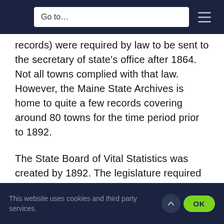Go to…
records) were required by law to be sent to the secretary of state's office after 1864. Not all towns complied with that law. However, the Maine State Archives is home to quite a few records covering around 80 towns for the time period prior to 1892.
The State Board of Vital Statistics was created by 1892. The legislature required that all vital events around the state be recorded and stored there. That was when mandatory vital record recording was really enforced and clearly established. Records from 1892 to 1922 for births, marriages and
This website uses cookies and third party services.